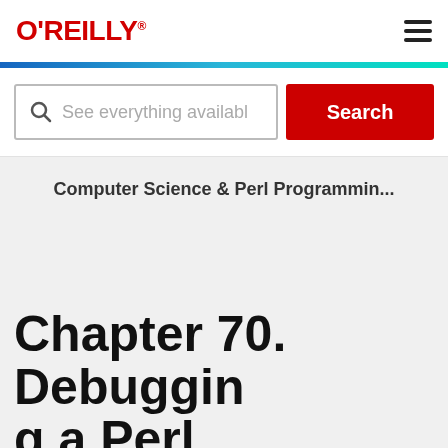O'REILLY®
See everything availabl
Search
Computer Science & Perl Programmin...
Chapter 70. Debuggin
g a Perl Pro... with